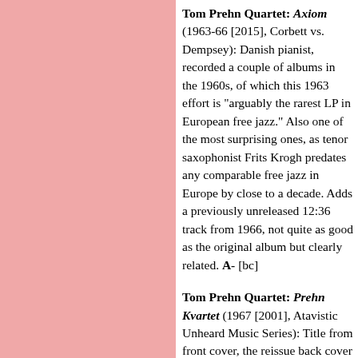Tom Prehn Quartet: Axiom (1963-66 [2015], Corbett vs. Dempsey): Danish pianist, recorded a couple of albums in the 1960s, of which this 1963 effort is "arguably the rarest LP in European free jazz." Also one of the most surprising ones, as tenor saxophonist Frits Krogh predates any comparable free jazz in Europe by close to a decade. Adds a previously unreleased 12:36 track from 1966, not quite as good as the original album but clearly related. A- [bc]
Tom Prehn Quartet: Prehn Kvartet (1967 [2001], Atavistic Unheard Music Series): Title from front cover, the reissue back cover translating Tom Prehn Quartet. Same short-lived group, with the leader on piano, plus Fritz Krogh (tenor sax), Paul Ehlers (bass), and Preben Vang (drums). Before